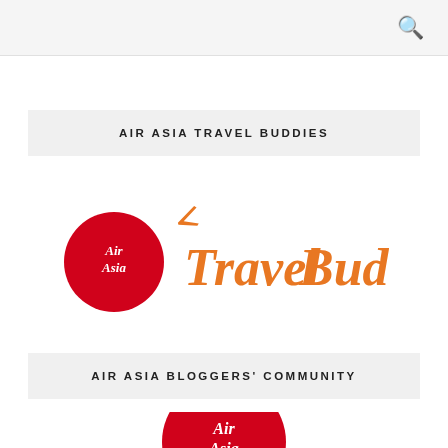AIR ASIA TRAVEL BUDDIES
[Figure (logo): AirAsia Travel Buddies logo: red circle with AirAsia script in white on left, orange cursive 'Travel Buddies' text with small airplane icon above on right]
AIR ASIA BLOGGERS' COMMUNITY
[Figure (logo): AirAsia red circle logo with AirAsia script in white, partially visible at bottom]